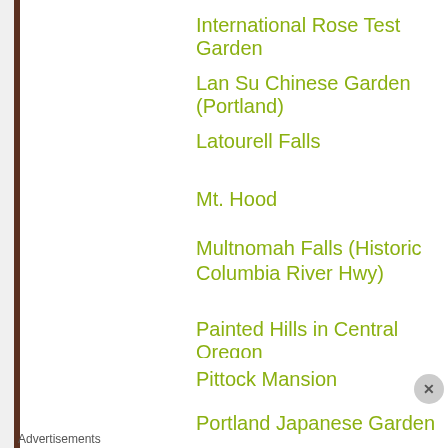International Rose Test Garden
Lan Su Chinese Garden (Portland)
Latourell Falls
Mt. Hood
Multnomah Falls (Historic Columbia River Hwy)
Painted Hills in Central Oregon
Pittock Mansion
Portland Japanese Garden
Advertisements
[Figure (infographic): DuckDuckGo advertisement banner with orange background showing 'Search, browse, and email with more privacy. All in One Free App' text with a phone mockup showing DuckDuckGo logo and brand name]